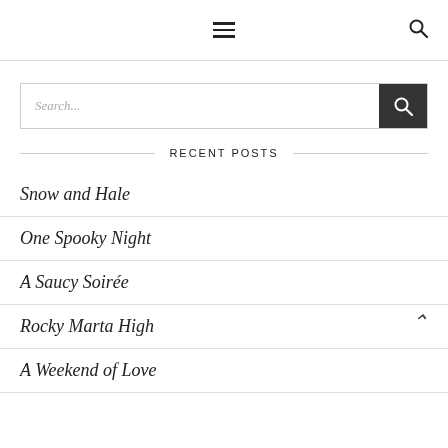☰ 🔍
Search...
RECENT POSTS
Snow and Hale
One Spooky Night
A Saucy Soirée
Rocky Marta High
A Weekend of Love